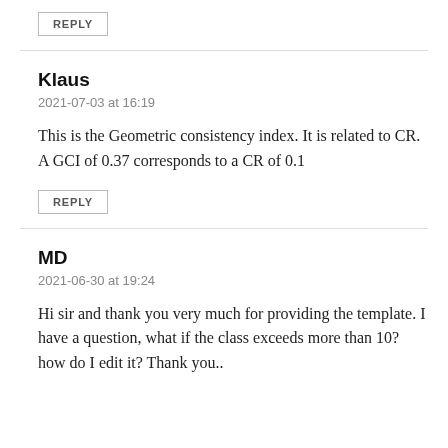REPLY
Klaus
2021-07-03 at 16:19
This is the Geometric consistency index. It is related to CR. A GCI of 0.37 corresponds to a CR of 0.1
REPLY
MD
2021-06-30 at 19:24
Hi sir and thank you very much for providing the template. I have a question, what if the class exceeds more than 10? how do I edit it? Thank you..